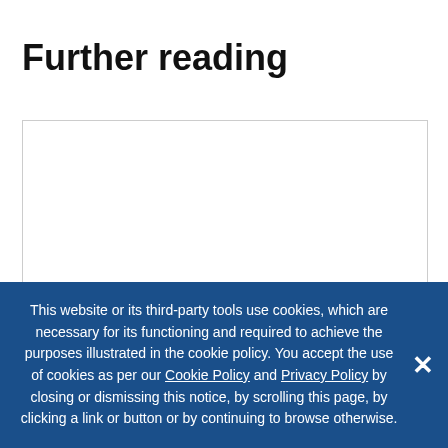Further reading
This website or its third-party tools use cookies, which are necessary for its functioning and required to achieve the purposes illustrated in the cookie policy. You accept the use of cookies as per our Cookie Policy and Privacy Policy by closing or dismissing this notice, by scrolling this page, by clicking a link or button or by continuing to browse otherwise.